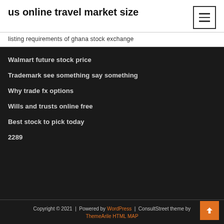us online travel market size
listing requirements of ghana stock exchange
Walmart future stock price
Trademark see something say something
Why trade fx options
Wills and trusts online free
Best stock to pick today
2289
Copyright © 2021 | Powered by WordPress | ConsultStreet theme by ThemeArile HTML MAP